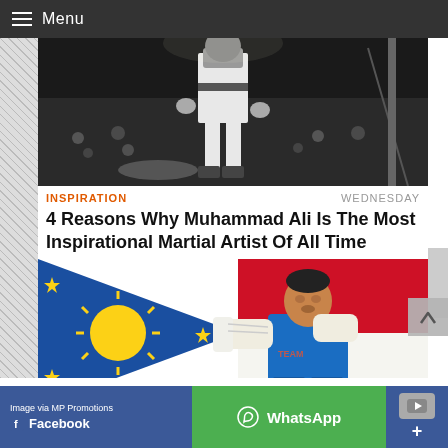Menu
[Figure (photo): Black and white photo of Muhammad Ali standing in boxing ring over fallen opponent, crowd visible in background]
INSPIRATION
WEDNESDAY
4 Reasons Why Muhammad Ali Is The Most Inspirational Martial Artist Of All Time
[Figure (photo): Manny Pacquiao in boxing stance wearing blue shirt with white hand wraps, Philippine flag in background]
Image via MP Promotions
Facebook
WhatsApp